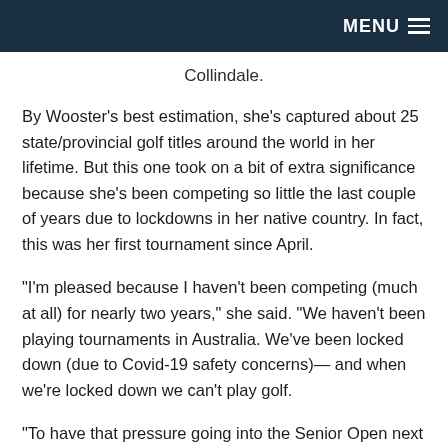MENU
Collindale.
By Wooster's best estimation, she's captured about 25 state/provincial golf titles around the world in her lifetime. But this one took on a bit of extra significance because she's been competing so little the last couple of years due to lockdowns in her native country. In fact, this was her first tournament since April.
“I’m pleased because I haven’t been competing (much at all) for nearly two years,” she said. “We haven’t been playing tournaments in Australia. We’ve been locked down (due to Covid-19 safety concerns)— and when we’re locked down we can’t play golf.
“To have that pressure going into the Senior Open next week